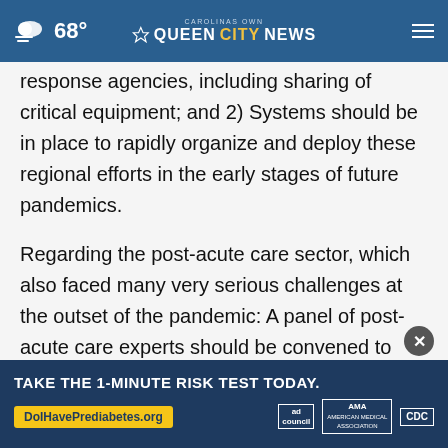68° | CAROLINAS OWN QUEEN CITY NEWS
response agencies, including sharing of critical equipment; and 2) Systems should be in place to rapidly organize and deploy these regional efforts in the early stages of future pandemics.
Regarding the post-acute care sector, which also faced many very serious challenges at the outset of the pandemic: A panel of post-acute care experts should be convened to determine how best to respond to future public health emer...
[Figure (infographic): Advertisement banner: TAKE THE 1-MINUTE RISK TEST TODAY. DolHavePrediabetes.org, with ad council, AMA, and CDC logos.]